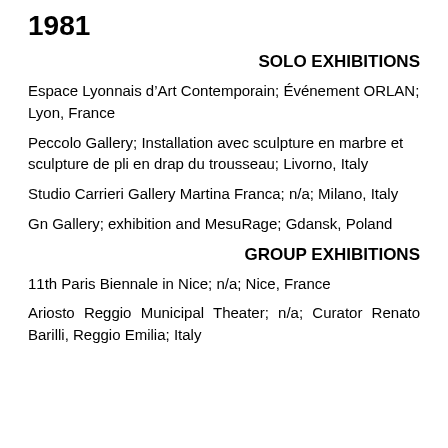1981
SOLO EXHIBITIONS
Espace Lyonnais d’Art Contemporain; Événement ORLAN; Lyon, France
Peccolo Gallery; Installation avec sculpture en marbre et sculpture de pli en drap du trousseau; Livorno, Italy
Studio Carrieri Gallery Martina Franca; n/a; Milano, Italy
Gn Gallery; exhibition and MesuRage; Gdansk, Poland
GROUP EXHIBITIONS
11th Paris Biennale in Nice; n/a; Nice, France
Ariosto Reggio Municipal Theater; n/a; Curator Renato Barilli, Reggio Emilia; Italy